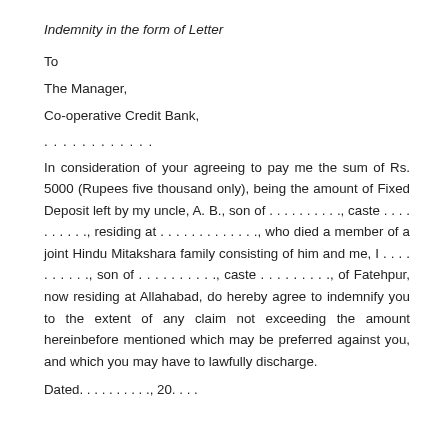Indemnity in the form of Letter
To
The Manager,
Co-operative Credit Bank,
. . . . . . . . . . . .
In consideration of your agreeing to pay me the sum of Rs. 5000 (Rupees five thousand only), being the amount of Fixed Deposit left by my uncle, A. B., son of . . . . . . . . . ., caste . . . . . . . . . ., residing at . . . . . . . . . . . . ., who died a member of a joint Hindu Mitakshara family consisting of him and me, I . . . . . . . . . ., son of . . . . . . . . . ., caste . . . . . . . . ., of Fatehpur, now residing at Allahabad, do hereby agree to indemnify you to the extent of any claim not exceeding the amount hereinbefore mentioned which may be preferred against you, and which you may have to lawfully discharge.
Dated. . . . . . . . . ., 20. . . .